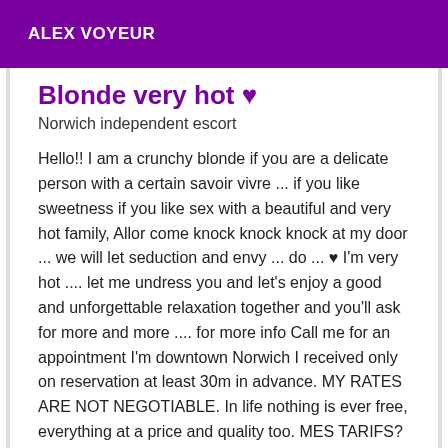ALEX VOYEUR
Blonde very hot ♥
Norwich independent escort
Hello!! I am a crunchy blonde if you are a delicate person with a certain savoir vivre ... if you like sweetness if you like sex with a beautiful and very hot family, Allor come knock knock knock at my door ... we will let seduction and envy ... do ... ♥ I'm very hot .... let me undress you and let's enjoy a good and unforgettable relaxation together and you'll ask for more and more .... for more info Call me for an appointment I'm downtown Norwich I received only on reservation at least 30m in advance. MY RATES ARE NOT NEGOTIABLE. In life nothing is ever free, everything at a price and quality too. MES TARIFS? ? -100 ₭01;?30 min -150 ₭01;? 45min -200 ₭01;?1h For me, our meeting must be a special moment for you as well as for me. That's why I like to prepare myself well in advance in order to welcome you